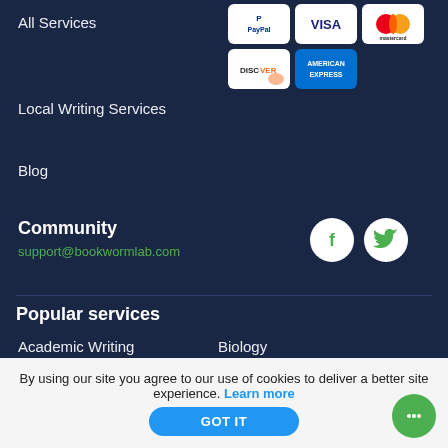All Services
[Figure (logo): Payment method logos: PayPal, Visa, Mastercard, Discover, American Express]
Local Writing Services
Blog
Community
support@bookwormlab.com
[Figure (logo): Facebook and Twitter social media icons]
Popular services
Academic Writing
Biology
By using our site you agree to our use of cookies to deliver a better site experience. Learn more
GOT IT